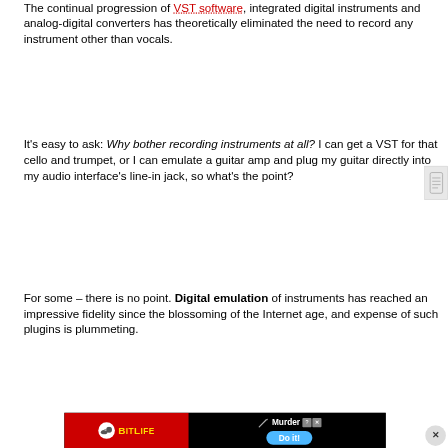The continual progression of VST software, integrated digital instruments and analog-digital converters has theoretically eliminated the need to record any instrument other than vocals.
It's easy to ask: Why bother recording instruments at all? I can get a VST for that cello and trumpet, or I can emulate a guitar amp and plug my guitar directly into my audio interface's line-in jack, so what's the point?
For some – there is no point. Digital emulation of instruments has reached an impressive fidelity since the blossoming of the Internet age, and expense of such plugins is plummeting.
[Figure (other): Advertisement banner for BitLife game featuring Murder Do it! call to action with red and black design]